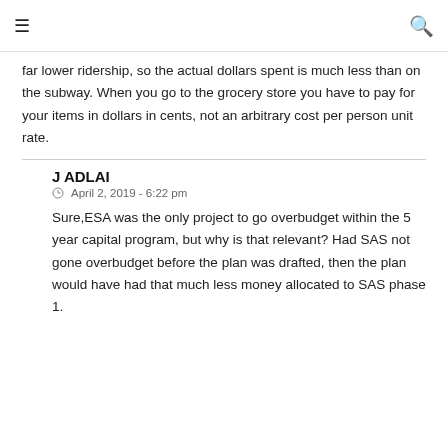☰  🔍
far lower ridership, so the actual dollars spent is much less than on the subway. When you go to the grocery store you have to pay for your items in dollars in cents, not an arbitrary cost per person unit rate.
J ADLAI
April 2, 2019 - 6:22 pm
Sure,ESA was the only project to go overbudget within the 5 year capital program, but why is that relevant? Had SAS not gone overbudget before the plan was drafted, then the plan would have had that much less money allocated to SAS phase 1.